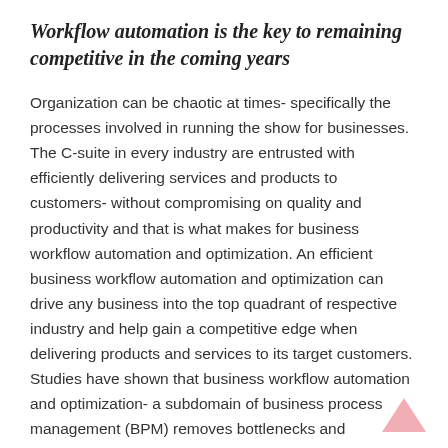Workflow automation is the key to remaining competitive in the coming years
Organization can be chaotic at times- specifically the processes involved in running the show for businesses. The C-suite in every industry are entrusted with efficiently delivering services and products to customers- without compromising on quality and productivity and that is what makes for business workflow automation and optimization. An efficient business workflow automation and optimization can drive any business into the top quadrant of respective industry and help gain a competitive edge when delivering products and services to its target customers. Studies have shown that business workflow automation and optimization- a subdomain of business process management (BPM) removes bottlenecks and